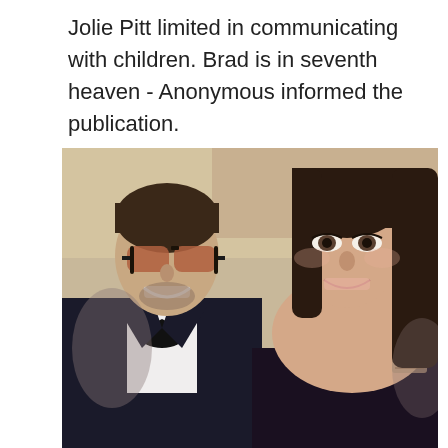Jolie Pitt limited in communicating with children. Brad is in seventh heaven - Anonymous informed the publication.
[Figure (photo): Photo of Brad Pitt and Angelina Jolie smiling together at a formal event. Brad is wearing a dark suit with black bow tie and sunglasses with reddish lenses. Angelina is wearing a strapless dress and has a tattoo visible on her shoulder. They appear to be on a red carpet.]